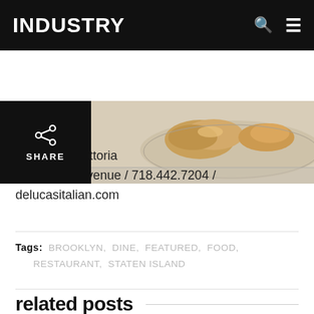INDUSTRY
[Figure (photo): Share button overlay on left (black background with share icon and SHARE text), food photo on right showing bread/pastry items on a tray]
DeLuca's Trattoria
616 Forest Avenue / 718.442.7204 /
delucasitalian.com
Tags:  BROOKLYN,  DINE,  FEATURED,  FOOD,  RESTAURANT,  STATEN ISLAND
related posts